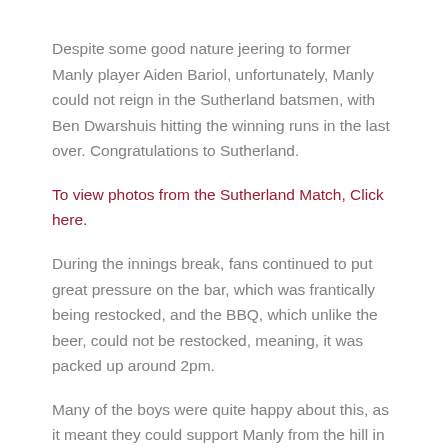Despite some good nature jeering to former Manly player Aiden Bariol, unfortunately, Manly could not reign in the Sutherland batsmen, with Ben Dwarshuis hitting the winning runs in the last over. Congratulations to Sutherland.
To view photos from the Sutherland Match, Click here.
During the innings break, fans continued to put great pressure on the bar, which was frantically being restocked, and the BBQ, which unlike the beer, could not be restocked, meaning, it was packed up around 2pm.
Many of the boys were quite happy about this, as it meant they could support Manly from the hill in the nextgame.
The second game of the day was against North Sydney,